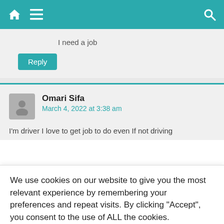Navigation bar with home icon, menu icon, and search icon
I need a job
Reply
Omari Sifa
March 4, 2022 at 3:38 am
I'm driver I love to get job to do even If not driving
We use cookies on our website to give you the most relevant experience by remembering your preferences and repeat visits. By clicking “Accept”, you consent to the use of ALL the cookies.
Reject.
Cookie Settings  Accept